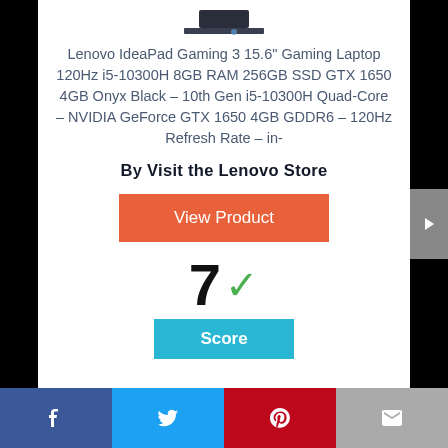[Figure (photo): Partial top of a laptop product image (cropped, only bottom edge visible)]
Lenovo IdeaPad Gaming 3 15.6" Gaming Laptop 120Hz i5-10300H 8GB RAM 256GB SSD GTX 1650 4GB Onyx Black – 10th Gen i5-10300H Quad-Core – NVIDIA GeForce GTX 1650 4GB GDDR6 – 120Hz Refresh Rate – in-
By Visit the Lenovo Store
View Product
7 ✓
Score